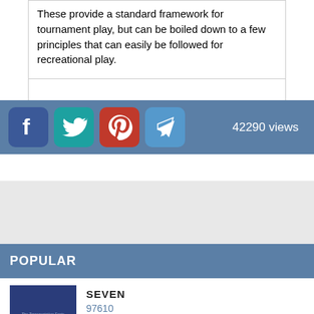These provide a standard framework for tournament play, but can be boiled down to a few principles that can easily be followed for recreational play.
[Figure (infographic): Social sharing bar with Facebook, Twitter, Pinterest, and Telegram icons, and '42290 views' text on a steel-blue background]
POPULAR
[Figure (photo): Thumbnail of a blue book cover with text about transportation facts and forecasts]
SEVEN
97610